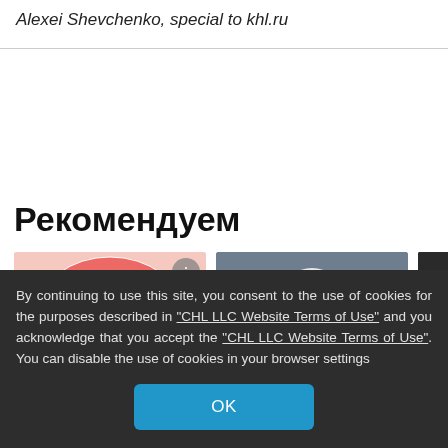Alexei Shevchenko, special to khl.ru
Рекомендуем
[Figure (illustration): Row of three article thumbnails: a summer/beach illustrated card, a hockey player photo card with caption 'На дороге первых', and a partially visible dark card with letter K and caption 'Стати...']
By continuing to use this site, you consent to the use of cookies for the purposes described in "CHL LLC Website Terms of Use" and you acknowledge that you accept the "CHL LLC Website Terms of Use". You can disable the use of cookies in your browser settings
OK